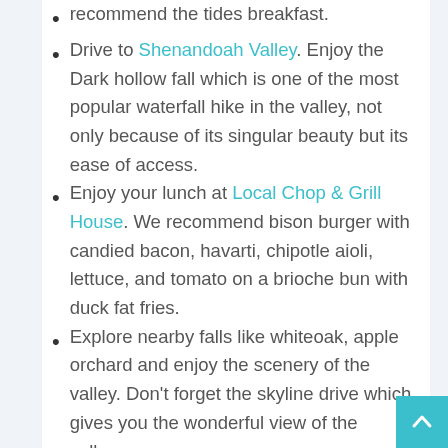recommend the tides breakfast.
Drive to Shenandoah Valley. Enjoy the Dark hollow fall which is one of the most popular waterfall hike in the valley, not only because of its singular beauty but its ease of access.
Enjoy your lunch at Local Chop & Grill House. We recommend bison burger with candied bacon, havarti, chipotle aioli, lettuce, and tomato on a brioche bun with duck fat fries.
Explore nearby falls like whiteoak, apple orchard and enjoy the scenery of the valley. Don't forget the skyline drive which gives you the wonderful view of the valley.
Enjoy your dinner at Meridian Bar & Grill. We recommend chicken tender with fried plain, or tossed in a choice of traditional buffalo sauc...